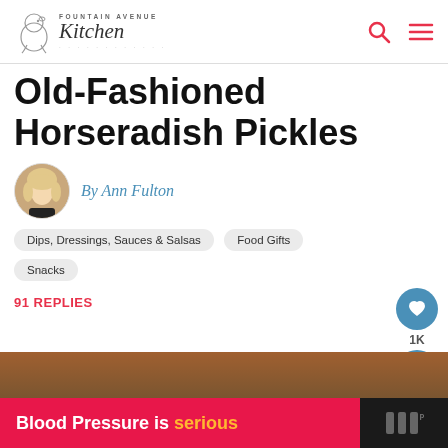Fountain Avenue Kitchen
Old-Fashioned Horseradish Pickles
By Ann Fulton
Dips, Dressings, Sauces & Salsas
Food Gifts
Snacks
91 REPLIES
[Figure (photo): Partial view of pickles at bottom of page]
Blood Pressure is serious